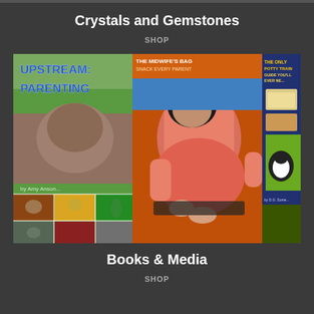Crystals and Gemstones
SHOP
[Figure (photo): Collage of book covers including 'Upstream Parenting', a pregnancy/parenting guide, and 'The Only Potty Training Guide You'll Ever Need', displayed as overlapping book covers with photos of people and children.]
Books & Media
SHOP